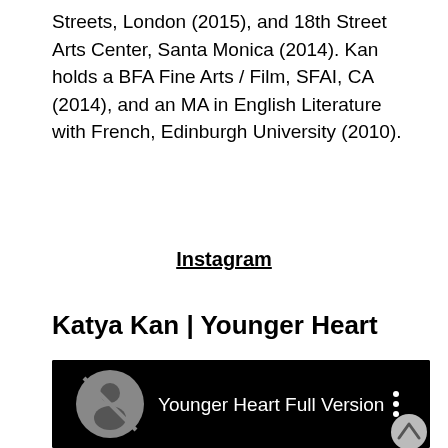Streets, London (2015), and 18th Street Arts Center, Santa Monica (2014). Kan holds a BFA Fine Arts / Film, SFAI, CA (2014), and an MA in English Literature with French, Edinburgh University (2010).
Instagram
Katya Kan | Younger Heart
[Figure (screenshot): Video player screenshot showing 'Younger Heart Full Version' with a grey avatar icon on the left and a three-dot menu icon on the right, on a black background.]